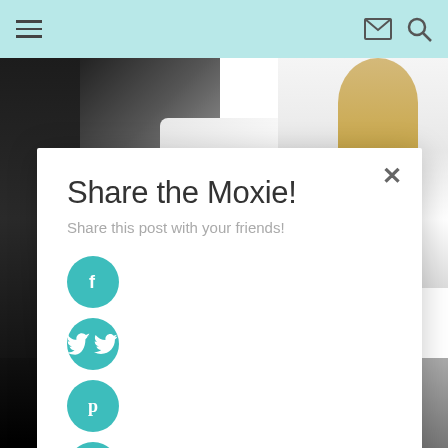Navigation header with hamburger menu, email icon, and search icon
[Figure (photo): Two people in a bedroom — one in dark clothing and one in a white robe, with pillows]
×
Share the Moxie!
Share this post with your friends!
[Figure (infographic): Four social share buttons: Facebook (f), Twitter (bird), Pinterest (p), LinkedIn (in) — teal circular icons stacked vertically]